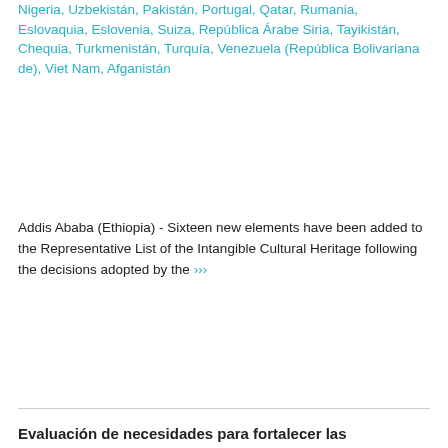Nigeria, Uzbekistán, Pakistán, Portugal, Qatar, Rumania, Eslovaquia, Eslovenia, Suiza, República Árabe Siria, Tayikistán, Chequia, Turkmenistán, Turquía, Venezuela (República Bolivariana de), Viet Nam, Afganistán
Addis Ababa (Ethiopia) - Sixteen new elements have been added to the Representative List of the Intangible Cultural Heritage following the decisions adopted by the »»»
Evaluación de necesidades para fortalecer las capacidades nacionales en la implementación de la Convención para la Salvaguardia del Patrimonio Cultural Inmaterial en Egipto
9 de agosto de 2015 – Egipto
The assessment of the main needs for the implementation of the 2003 Convention for the safeguarding of the ICH in Egypt is part of a »»»